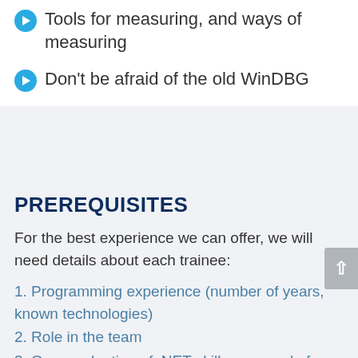Tools for measuring, and ways of measuring
Don't be afraid of the old WinDBG
PREREQUISITES
For the best experience we can offer, we will need details about each trainee:
1. Programming experience (number of years, known technologies)
2. Role in the team
3. Own evaluation of .NET skills on a scale from 1 to 5
4. Software development methodology in use